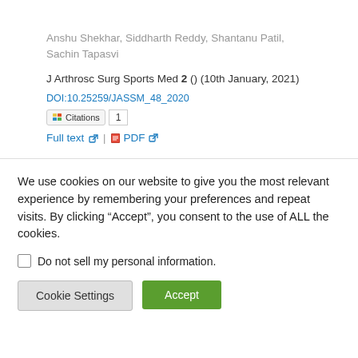Anshu Shekhar, Siddharth Reddy, Shantanu Patil, Sachin Tapasvi
J Arthrosc Surg Sports Med 2 () (10th January, 2021)
DOI:10.25259/JASSM_48_2020
Citations 1
Full text | PDF
We use cookies on our website to give you the most relevant experience by remembering your preferences and repeat visits. By clicking “Accept”, you consent to the use of ALL the cookies.
Do not sell my personal information.
Cookie Settings
Accept